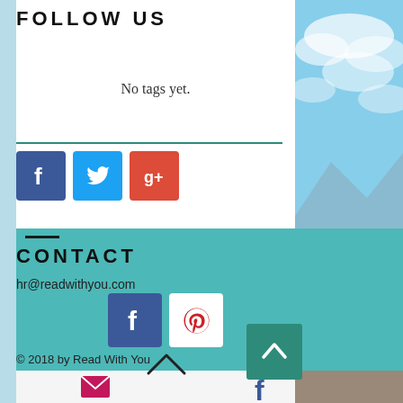FOLLOW US
No tags yet.
[Figure (infographic): Social media icons: Facebook (blue), Twitter (blue), Google+ (red/orange)]
CONTACT
hr@readwithyou.com
[Figure (infographic): Social media icons: Facebook (blue), Pinterest (white with red icon)]
© 2018 by Read With You